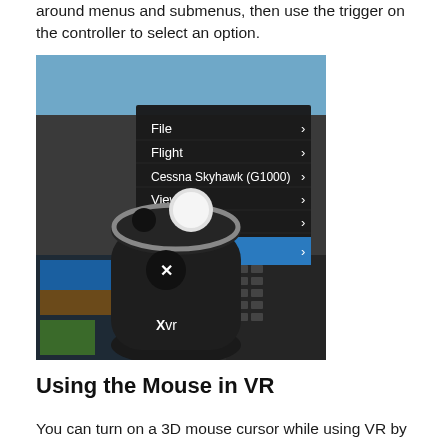around menus and submenus, then use the trigger on the controller to select an option.
[Figure (screenshot): Screenshot of a VR controller (labeled Xvr) overlaid on a flight simulator cockpit scene. A dark menu panel is visible showing menu items: File, Flight, Cessna Skyhawk (G1000), View, Developer, and Plugins (highlighted in blue with a chevron arrow).]
Using the Mouse in VR
You can turn on a 3D mouse cursor while using VR by